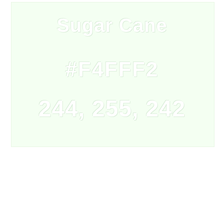[Figure (other): A light mint green color swatch rectangle occupying the upper portion of the page]
Sugar Cane
#F4FFF2
244, 255, 242